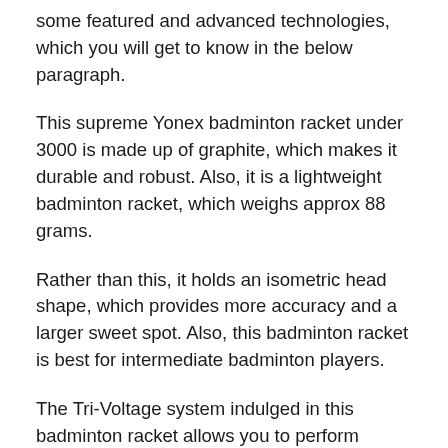some featured and advanced technologies, which you will get to know in the below paragraph.
This supreme Yonex badminton racket under 3000 is made up of graphite, which makes it durable and robust. Also, it is a lightweight badminton racket, which weighs approx 88 grams.
Rather than this, it holds an isometric head shape, which provides more accuracy and a larger sweet spot. Also, this badminton racket is best for intermediate badminton players.
The Tri-Voltage system indulged in this badminton racket allows you to perform